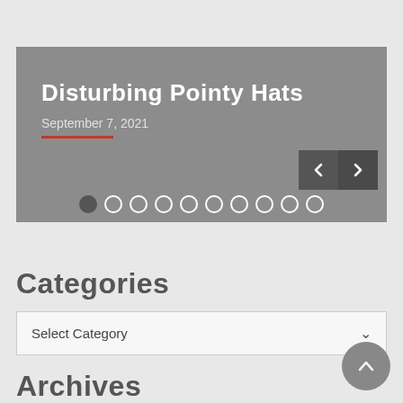[Figure (screenshot): Image slider/carousel showing 'Disturbing Pointy Hats' post dated September 7, 2021, with navigation arrows and dot indicators on a gray background]
Categories
[Figure (screenshot): Dropdown select box labeled 'Select Category' with a chevron arrow]
Archives